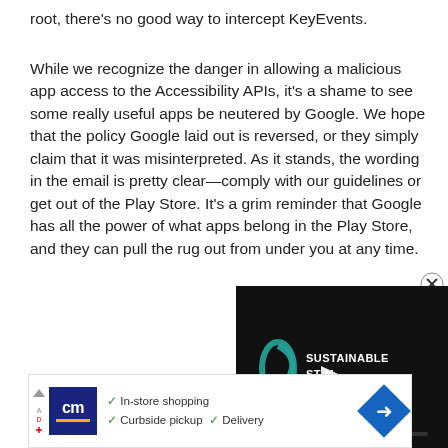root, there's no good way to intercept KeyEvents.
While we recognize the danger in allowing a malicious app access to the Accessibility APIs, it's a shame to see some really useful apps be neutered by Google. We hope that the policy Google laid out is reversed, or they simply claim that it was misinterpreted. As it stands, the wording in the email is pretty clear—comply with our guidelines or get out of the Play Store. It's a grim reminder that Google has all the power of what apps belong in the Play Store, and they can pull the rug out from under you at any time.
[Figure (screenshot): Video player overlay showing 'SUSTAINABLE STREAM' branding with a play button and a teal progress bar on a dark background. An X close button appears in the upper right corner.]
[Figure (screenshot): Advertisement banner for a store showing a dark blue logo with 'cm' text, checkmarks next to 'In-store shopping', 'Curbside pickup', and 'Delivery', with a blue diamond navigation arrow icon on the right.]